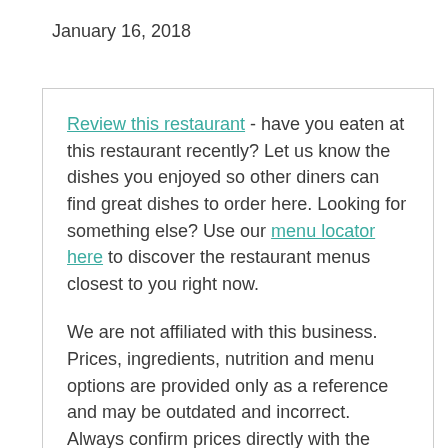January 16, 2018
Review this restaurant - have you eaten at this restaurant recently? Let us know the dishes you enjoyed so other diners can find great dishes to order here. Looking for something else? Use our menu locator here to discover the restaurant menus closest to you right now.
We are not affiliated with this business. Prices, ingredients, nutrition and menu options are provided only as a reference and may be outdated and incorrect. Always confirm prices directly with the listed businesses.